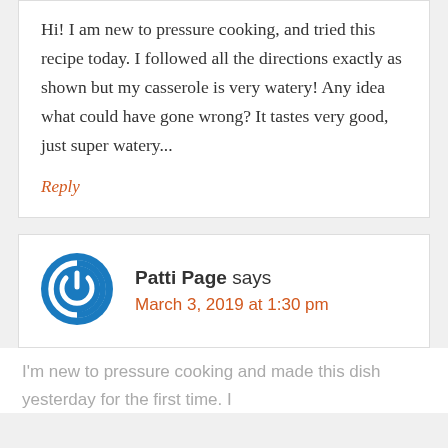Hi! I am new to pressure cooking, and tried this recipe today. I followed all the directions exactly as shown but my casserole is very watery! Any idea what could have gone wrong? It tastes very good, just super watery...
Reply
[Figure (illustration): Blue circular power button icon avatar for user Patti Page]
Patti Page says
March 3, 2019 at 1:30 pm
I'm new to pressure cooking and made this dish yesterday for the first time. I